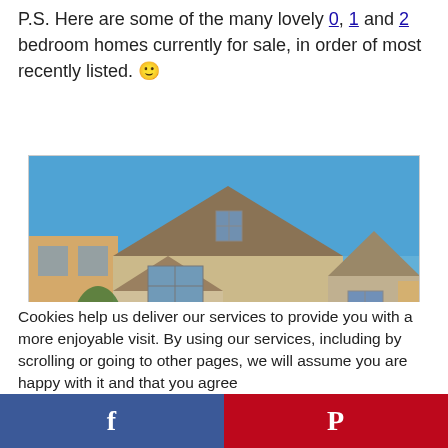P.S. Here are some of the many lovely 0, 1 and 2 bedroom homes currently for sale, in order of most recently listed. 🙂
[Figure (photo): Exterior photo of a two-story stucco residential home with brown shutters and a yellow front door, under a clear blue sky, with green landscaping and neighboring homes visible.]
Cookies help us deliver our services to provide you with a more enjoyable visit. By using our services, including by scrolling or going to other pages, we will assume you are happy with it and that you agree
[Figure (infographic): Social sharing bar with Facebook (blue, letter f) on the left and Pinterest (red, letter P) on the right.]